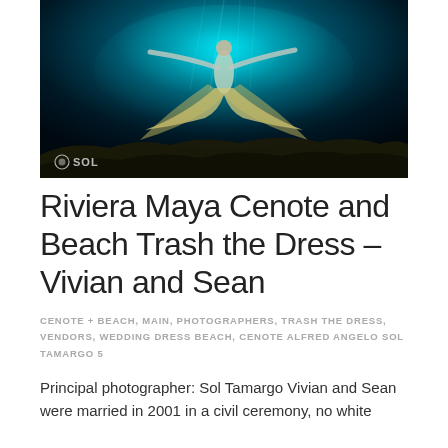[Figure (photo): Underwater photograph of a woman in a flowing white wedding dress, arms outstretched, floating in a cenote with turquoise blue water. A watermark logo reading 'sol' appears in the bottom left corner.]
Riviera Maya Cenote and Beach Trash the Dress – Vivian and Sean
CENOTE + BEACH, MAIN, PHOTOGRAPHERS, TRASH THE DRESS, VENDORS, WEDDING DRESS BEACH, CENOTE ALFRED ANGELO SOL TAMARGO 5
Principal photographer: Sol Tamargo Vivian and Sean were married in 2001 in a civil ceremony, no white